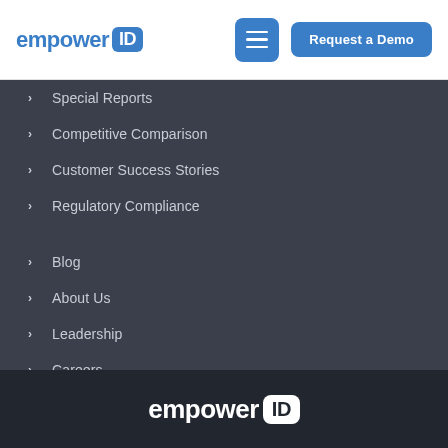empowerID | Request a Demo
Special Reports
Competitive Comparison
Customer Success Stories
Regulatory Compliance
Blog
About Us
Leadership
Careers
News
empowerID